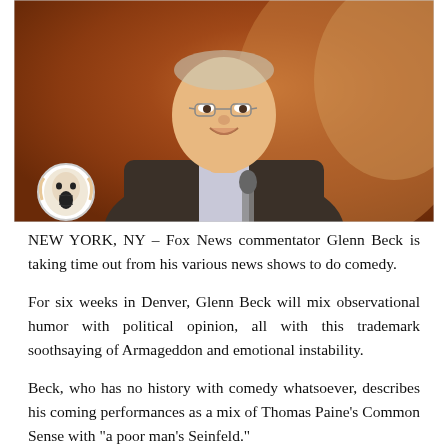[Figure (photo): Photo of Glenn Beck, a middle-aged bald man with glasses wearing a dark blazer, smiling and holding a microphone, against a warm reddish-orange bokeh background. A circular logo with a screaming face is in the bottom-left corner of the image.]
NEW YORK, NY – Fox News commentator Glenn Beck is taking time out from his various news shows to do comedy.
For six weeks in Denver, Glenn Beck will mix observational humor with political opinion, all with this trademark soothsaying of Armageddon and emotional instability.
Beck, who has no history with comedy whatsoever, describes his coming performances as a mix of Thomas Paine's Common Sense with "a poor man's Seinfeld."